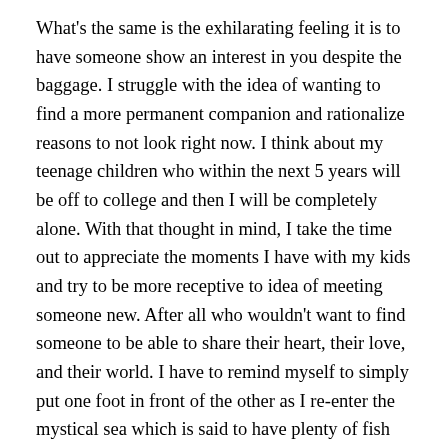What's the same is the exhilarating feeling it is to have someone show an interest in you despite the baggage. I struggle with the idea of wanting to find a more permanent companion and rationalize reasons to not look right now. I think about my teenage children who within the next 5 years will be off to college and then I will be completely alone. With that thought in mind, I take the time out to appreciate the moments I have with my kids and try to be more receptive to idea of meeting someone new. After all who wouldn't want to find someone to be able to share their heart, their love, and their world. I have to remind myself to simply put one foot in front of the other as I re-enter the mystical sea which is said to have plenty of fish in. I remember the first time I saw the ocean, the waters were so rough and went as far as the eye could see. Growing up amongst the giant skyscapers of NYC with weekends in the country surrounded by NE's canopy of trees, the sight of the endless horizon view the sea offered was amazing to me. I thought it was magical. The thought of going in frightening.